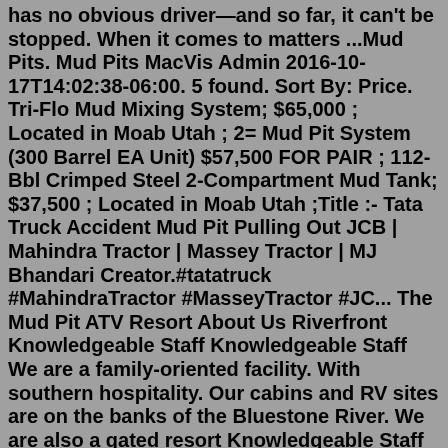has no obvious driver—and so far, it can't be stopped. When it comes to matters ...Mud Pits. Mud Pits MacVis Admin 2016-10-17T14:02:38-06:00. 5 found. Sort By: Price. Tri-Flo Mud Mixing System; $65,000 ; Located in Moab Utah ; 2= Mud Pit System (300 Barrel EA Unit) $57,500 FOR PAIR ; 112-Bbl Crimped Steel 2-Compartment Mud Tank; $37,500 ; Located in Moab Utah ;Title :- Tata Truck Accident Mud Pit Pulling Out JCB | Mahindra Tractor | Massey Tractor | MJ Bhandari Creator.#tatatruck #MahindraTractor #MasseyTractor #JC... The Mud Pit ATV Resort About Us Riverfront Knowledgeable Staff Knowledgeable Staff We are a family-oriented facility. With southern hospitality. Our cabins and RV sites are on the banks of the Bluestone River. We are also a gated resort Knowledgeable Staff Knowledgeable Staff Knowledgeable Staff We ride the trails and understand your passion.Texas. Apr 4, 2013. #3. This might be old information, but some years ago I read a letter from the EPA about pit mud. In wet form it was considered hazardous waste and